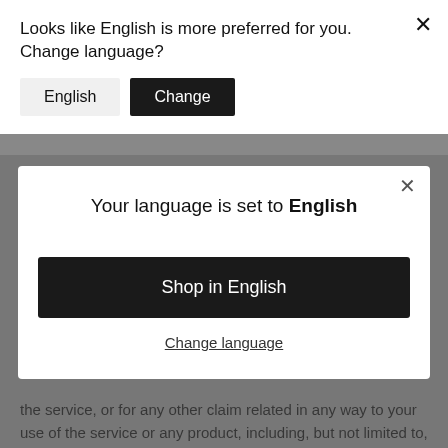Looks like English is more preferred for you. Change language?
English
Change
Your language is set to English
Shop in English
Change language
the service, or for any other claim related in any way to your use of the service or any product, including, but not limited to, any errors or omissions in any content, or any loss or damage of any kind incurred as a result of the use of the service or any content (or product) posted, transmitted, or otherwise made available via